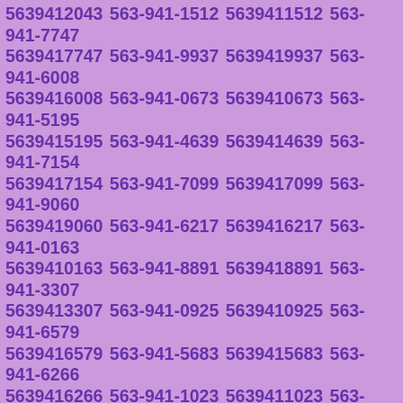5639412043 563-941-1512 5639411512 563-941-7747 5639417747 563-941-9937 5639419937 563-941-6008 5639416008 563-941-0673 5639410673 563-941-5195 5639415195 563-941-4639 5639414639 563-941-7154 5639417154 563-941-7099 5639417099 563-941-9060 5639419060 563-941-6217 5639416217 563-941-0163 5639410163 563-941-8891 5639418891 563-941-3307 5639413307 563-941-0925 5639410925 563-941-6579 5639416579 563-941-5683 5639415683 563-941-6266 5639416266 563-941-1023 5639411023 563-941-4849 5639414849 563-941-8595 5639418595 563-941-7449 5639417449 563-941-9042 5639419042 563-941-3159 5639413159 563-941-8922 5639418922 563-941-6168 5639416168 563-941-2423 5639412423 563-941-1298 5639411298 563-941-2092 5639412092 563-941-7516 5639417516 563-941-5791 5639415791 563-941-7707 5639417707 563-941-7592 5639417592 563-941-2436 5639412436 563-941-9784 5639419784 563-941-9682 5639419682 563-941-7325 5639417325 563-941-0025 5639410025 563-941-8819 5639418819 563-941-7887 5639417887 563-941-5494 5639415494 563-941-...